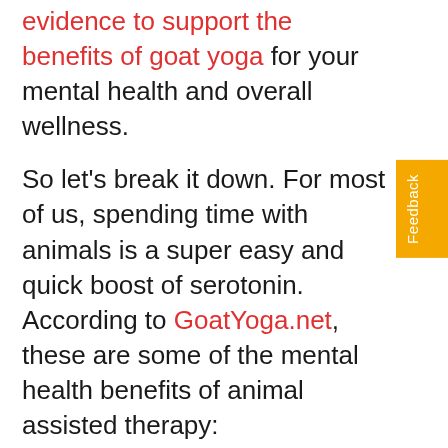evidence to support the benefits of goat yoga for your mental health and overall wellness.
So let's break it down. For most of us, spending time with animals is a super easy and quick boost of serotonin. According to GoatYoga.net, these are some of the mental health benefits of animal assisted therapy:
Just petting animals releases a relaxation response
Humans interacting with animals